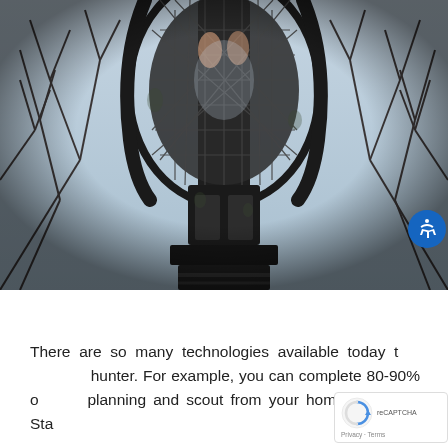[Figure (photo): Upward-looking photo of a climbing tree stand (hunting stand) strapped to a tree, with bare winter branches and a light blue-grey sky visible in the background. The dark metal frame and mesh netting of the stand dominate the center of the image.]
There are so many technologies available today t... hunter. For example, you can complete 80-90% o... planning and scout from your home computer. Start by...